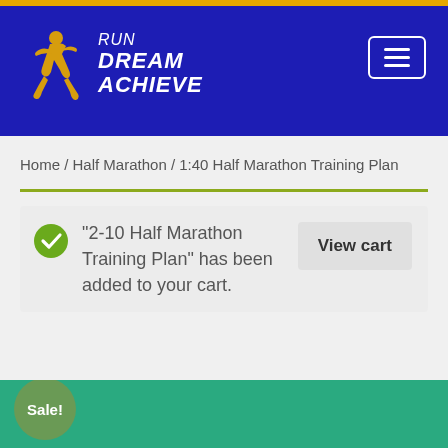[Figure (logo): Run Dream Achieve logo with yellow running figure and white italic text on blue background header with hamburger menu button]
Home / Half Marathon / 1:40 Half Marathon Training Plan
"2-10 Half Marathon Training Plan" has been added to your cart.
View cart
[Figure (photo): Green/teal background photo with Sale! badge in bottom left corner]